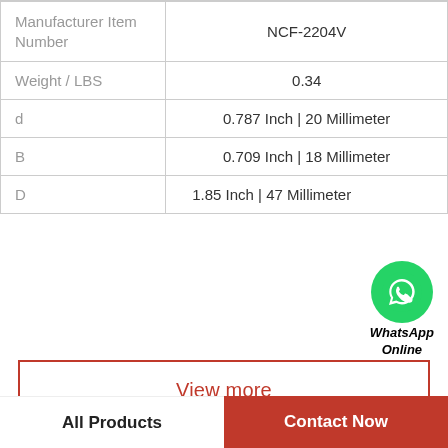|  |  |
| --- | --- |
| Manufacturer Item Number | NCF-2204V |
| Weight / LBS | 0.34 |
| d | 0.787 Inch | 20 Millimeter |
| B | 0.709 Inch | 18 Millimeter |
| D | 1.85 Inch | 47 Millimeter |
View more
Company Profile
Twg Industrial Services
All Products
Contact Now